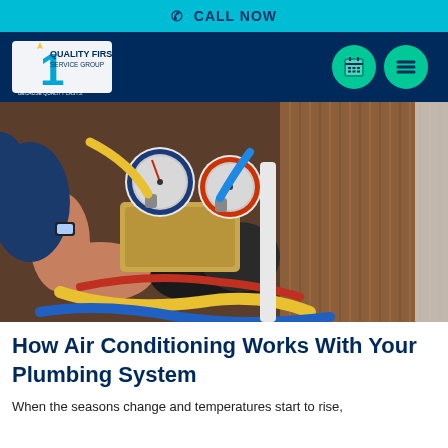CALL NOW
[Figure (logo): Quality First Service Group logo with number 1 graphic and text 'Because Quality Lasts' on dark blue navigation bar with green circular icon buttons for calendar and menu]
[Figure (photo): HVAC technician holding refrigerant manifold gauge set with blue and red gauges connected to yellow and blue hoses, working on an air conditioning or refrigeration unit with copper coils visible in background]
How Air Conditioning Works With Your Plumbing System
When the seasons change and temperatures start to rise,